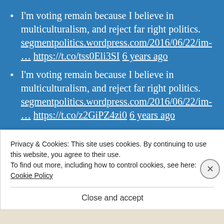I'm voting remain because I believe in multiculturalism, and reject far right politics. segmentpolitics.wordpress.com/2016/06/22/im-… https://t.co/tss0Eli3SI 6 years ago
I'm voting remain because I believe in multiculturalism, and reject far right politics. segmentpolitics.wordpress.com/2016/06/22/im-… https://t.co/z2GiPZ4zi0 6 years ago
I'm voting remain because I believe in multiculturalism, and reject far right politics. segmentpolitics.wordpress.com/2016/06/22/im-… https://t.co/rU8p0V9hzU 6 years ago
Privacy & Cookies: This site uses cookies. By continuing to use this website, you agree to their use.
To find out more, including how to control cookies, see here: Cookie Policy
Close and accept